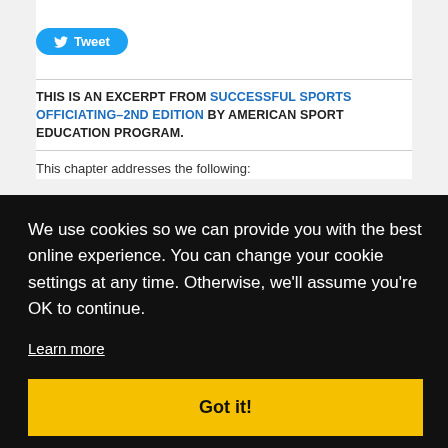[Figure (other): Tweet button with Twitter bird icon]
THIS IS AN EXCERPT FROM SUCCESSFUL SPORTS OFFICIATING–2ND EDITION BY AMERICAN SPORT EDUCATION PROGRAM.
This chapter addresses the following:
We use cookies so we can provide you with the best online experience. You can change your cookie settings at any time. Otherwise, we'll assume you're OK to continue.
Learn more
Got it!
baseball fans
Facebook
g way since